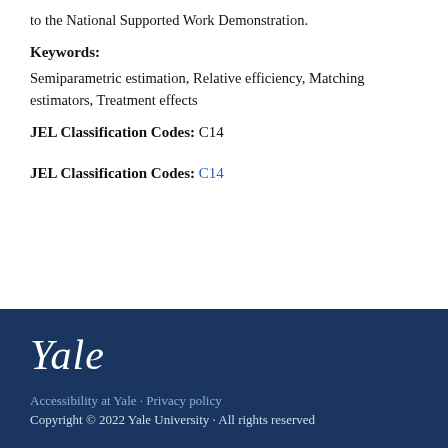to the National Supported Work Demonstration.
Keywords:
Semiparametric estimation, Relative efficiency, Matching estimators, Treatment effects
JEL Classification Codes: C14
JEL Classification Codes: C14
[Figure (logo): Yale University italic serif logo in white on dark navy background]
Accessibility at Yale · Privacy policy
Copyright © 2022 Yale University · All rights reserved